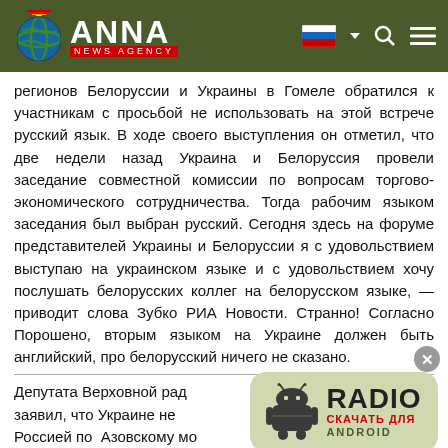ANNA NEWS AGENCY
регионов Белоруссии и Украины в Гомеле обратился к участникам с просьбой не использовать на этой встрече русский язык. В ходе своего выступления он отметил, что две недели назад Украина и Белоруссия провели заседание совместной комиссии по вопросам торгово-экономического сотрудничества. Тогда рабочим языком заседания был выбран русский. Сегодня здесь на форуме представителей Украины и Белоруссии я с удовольствием выступаю на украинском языке и с удовольствием хочу послушать белорусских коллег на белорусском языке, — приводит слова Зубко РИА Новости. Странно! Согласно Порошено, вторым языком на Украине должен быть английский, про белорусский ничего не сказано.
Депутата Верховной рады заявил, что Украине не Россией по Азовскому мо договор, регулирует отношения между Украиной и